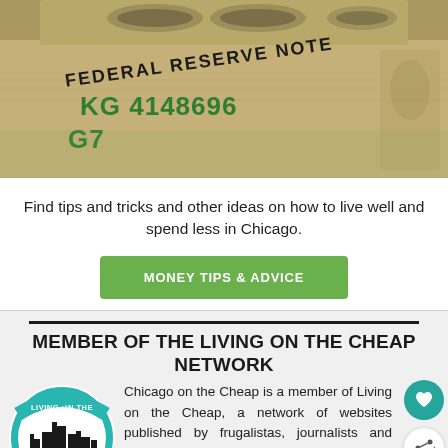[Figure (photo): Close-up photo of US Federal Reserve Note (hundred dollar bill) showing serial number KG 4148696 and the text FEDERAL RESERVE NOTE]
Find tips and tricks and other ideas on how to live well and spend less in Chicago.
MONEY TIPS & ADVICE
MEMBER OF THE LIVING ON THE CHEAP NETWORK
[Figure (logo): Living on the Cheap circular logo with city skyline, sun, and green/teal colors]
Chicago on the Cheap is a member of Living on the Cheap, a network of websites published by frugalistas, journalists and consumer advocates. Find practical advice on